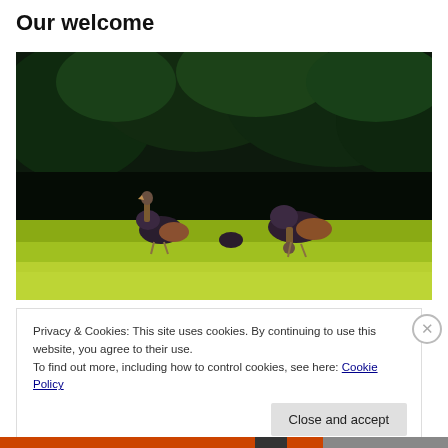Our welcome
[Figure (photo): Two wild turkeys grazing on a bright green lawn in front of dark green coniferous trees. The birds appear to be feeding, with their heads down toward the grass.]
Privacy & Cookies: This site uses cookies. By continuing to use this website, you agree to their use.
To find out more, including how to control cookies, see here: Cookie Policy
Close and accept